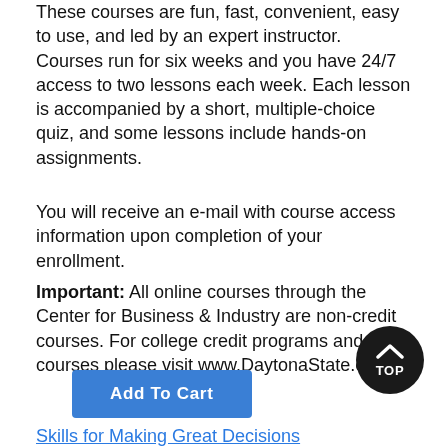These courses are fun, fast, convenient, easy to use, and led by an expert instructor. Courses run for six weeks and you have 24/7 access to two lessons each week. Each lesson is accompanied by a short, multiple-choice quiz, and some lessons include hands-on assignments.
You will receive an e-mail with course access information upon completion of your enrollment.
Important: All online courses through the Center for Business & Industry are non-credit courses. For college credit programs and courses please visit www.DaytonaState.edu.
Add To Cart
Skills for Making Great Decisions